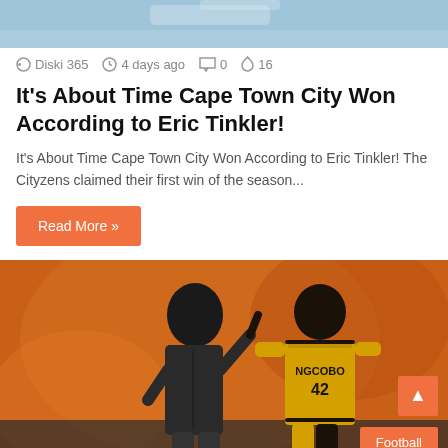[Figure (photo): Top partial image of a sports-related photograph, partially cropped at top of page]
Diski 365  4 days ago  0  16
It's About Time Cape Town City Won According to Eric Tinkler!
It's About Time Cape Town City Won According to Eric Tinkler! The Cityzens claimed their first win of the season...
Read More »
[Figure (photo): Football coach in dark jacket pointing finger at player wearing yellow Kaizer Chiefs kit with NGCOBO and number 42 on the back, against an orange blurred stadium background. A Football category badge and scroll-to-top button appear in the bottom right corner.]